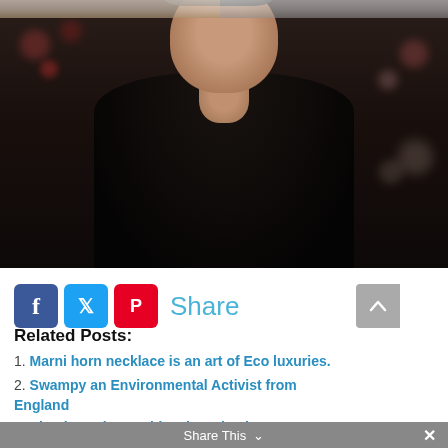[Figure (photo): A man in a black jacket seated in a TV talk show set environment with dark bokeh background lighting.]
Share (Facebook, Twitter, Pinterest social share buttons)
Related Posts:
1. Marni horn necklace is an art of Eco luxuries.
2. Swampy an Environmental Activist from England
3. Ekoplaza, the World's First Plastic-Free
Share This  ×